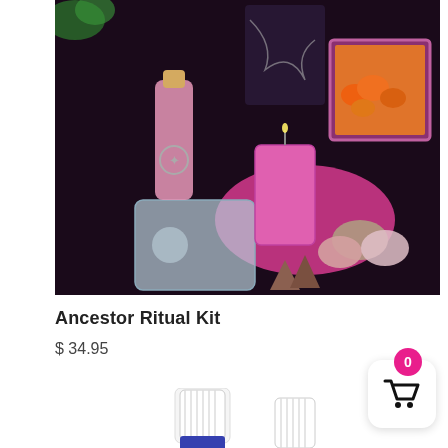[Figure (photo): Product photo of an Ancestor Ritual Kit showing a pink bottle with pentagram charm, pink pillar candle, silver/organza pouches, pink satin pouch with tumbled stones (rose quartz, jasper), brown incense cones, and a framed photo of pumpkins on a dark background.]
Ancestor Ritual Kit
$ 34.95
[Figure (photo): Partial photo showing tops of small essential oil bottles with white ribbed caps, one blue glass bottle visible at the bottom, on a white background.]